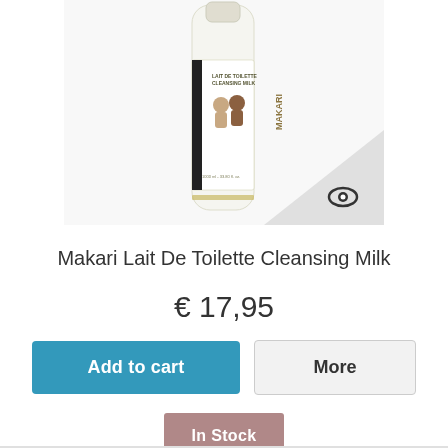[Figure (photo): Product photo of Makari Lait De Toilette Cleansing Milk bottle, white tall cylindrical bottle with label showing two babies and MAKARI branding, with an eye icon in the bottom-right corner of the image frame]
Makari Lait De Toilette Cleansing Milk
€ 17,95
Add to cart
More
In Stock